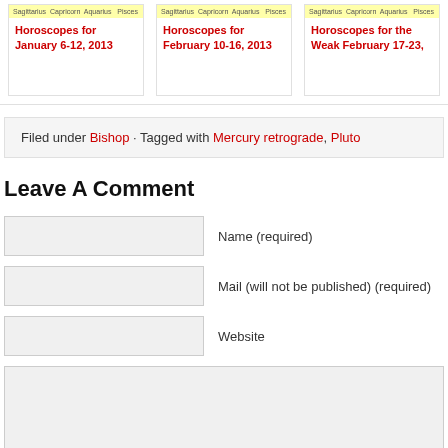[Figure (other): Three card previews showing horoscope articles: 'Horoscopes for January 6-12, 2013', 'Horoscopes for February 10-16, 2013', 'Horoscopes for the Weak February 17-23,' each with yellow tag bars showing 'Sagittarius Capricorn Aquarius Pisces']
Filed under Bishop · Tagged with Mercury retrograde, Pluto
Leave A Comment
Name (required)
Mail (will not be published) (required)
Website